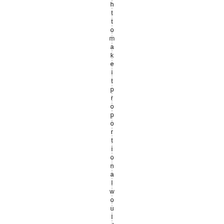httomakeitproportional would be e